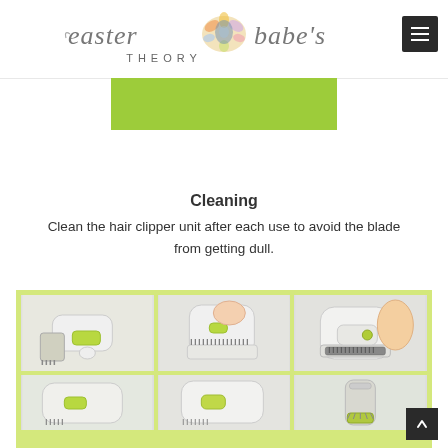easter babe's THEORY
[Figure (photo): Partial green/lime colored banner or product image at top]
Cleaning
Clean the hair clipper unit after each use to avoid the blade from getting dull.
[Figure (photo): Grid of 6 photos showing steps to clean a hair clipper unit — detaching blade, brushing, reassembling — against a light green background]